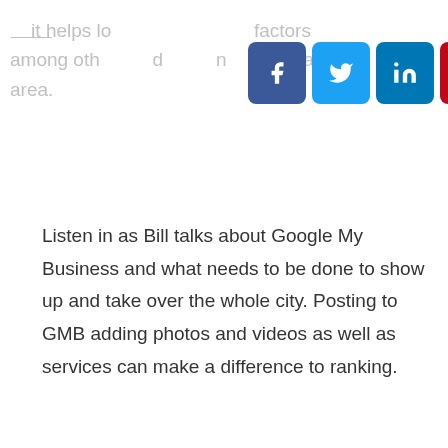it helps local ... factors among other ... and ... local area.
[Figure (other): Social sharing buttons: Facebook (blue), Twitter (light blue), LinkedIn (dark blue), Pinterest (red)]
Listen in as Bill talks about Google My Business and what needs to be done to show up and take over the whole city. Posting to GMB adding photos and videos as well as services can make a difference to ranking.
Bill also talks about branding and how he has made himself a known player in the Boston SEO services market by giving a shout out to his LinkedIn connections. This is something that Bill shares is part of the know, like and trust formula